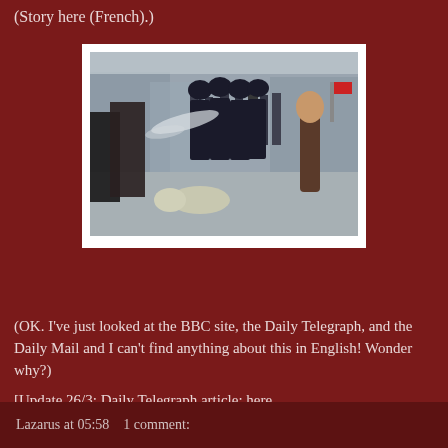(Story here (French).)
[Figure (photo): Photo of a riot scene showing police in riot gear spraying a person on the ground, with crowds visible in the background on a city street.]
(OK. I've just looked at the BBC site, the Daily Telegraph, and the Daily Mail and I can't find anything about this in English! Wonder why?)
[Update 26/3: Daily Telegraph article: here
Life Site News article here.    H/T The Bones]
Lazarus at 05:58    1 comment: